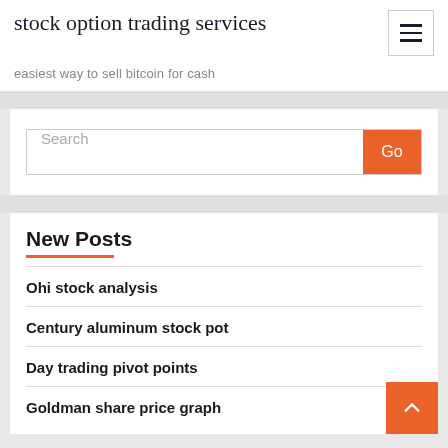stock option trading services
easiest way to sell bitcoin for cash
Search
New Posts
Ohi stock analysis
Century aluminum stock pot
Day trading pivot points
Goldman share price graph